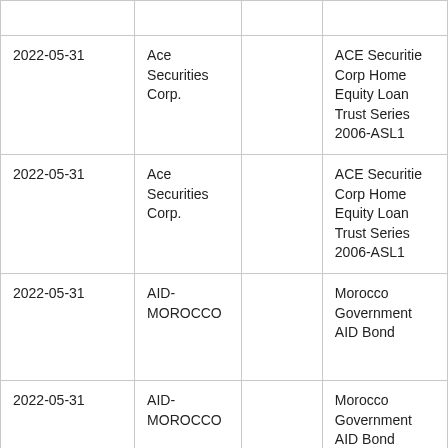| 2022-05-31 | Ace Securities Corp. |  | ACE Securities Corp Home Equity Loan Trust Series 2006-ASL1 |
| 2022-05-31 | Ace Securities Corp. |  | ACE Securities Corp Home Equity Loan Trust Series 2006-ASL1 |
| 2022-05-31 | AID-MOROCCO |  | Morocco Government AID Bond |
| 2022-05-31 | AID-MOROCCO |  | Morocco Government AID Bond |